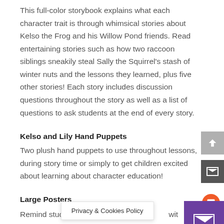This full-color storybook explains what each character trait is through whimsical stories about Kelso the Frog and his Willow Pond friends. Read entertaining stories such as how two raccoon siblings sneakily steal Sally the Squirrel's stash of winter nuts and the lessons they learned, plus five other stories! Each story includes discussion questions throughout the story as well as a list of questions to ask students at the end of every story.
Kelso and Lily Hand Puppets
Two plush hand puppets to use throughout lessons, during story time or simply to get children excited about learning about character education!
Large Posters
Remind students abo... wit...
Privacy & Cookies Policy